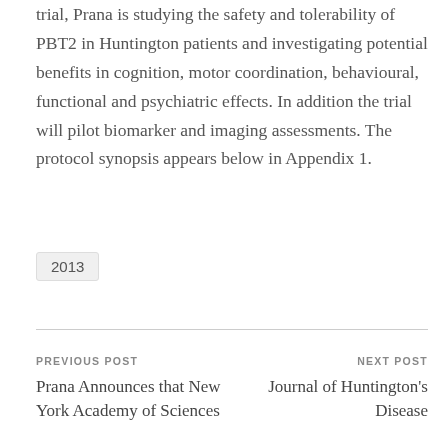trial, Prana is studying the safety and tolerability of PBT2 in Huntington patients and investigating potential benefits in cognition, motor coordination, behavioural, functional and psychiatric effects. In addition the trial will pilot biomarker and imaging assessments. The protocol synopsis appears below in Appendix 1.
2013
PREVIOUS POST
Prana Announces that New York Academy of Sciences
NEXT POST
Journal of Huntington's Disease